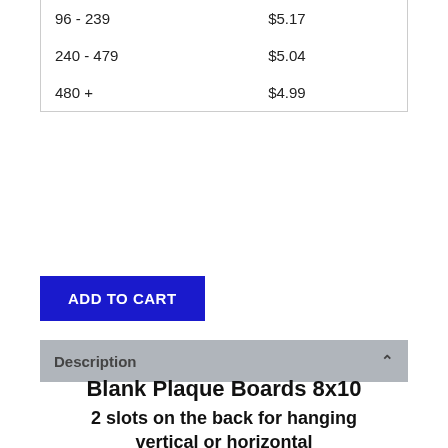| Quantity | Price |
| --- | --- |
| 96 - 239 | $5.17 |
| 240 - 479 | $5.04 |
| 480 + | $4.99 |
ADD TO CART
Description
Blank Plaque Boards 8x10
2 slots on the back for hanging vertical or horizontal with beveled edges